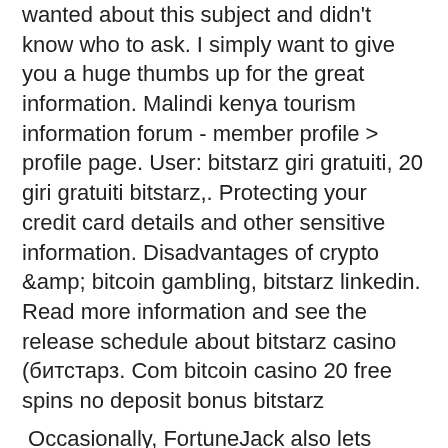wanted about this subject and didn't know who to ask. I simply want to give you a huge thumbs up for the great information. Malindi kenya tourism information forum - member profile &gt; profile page. User: bitstarz giri gratuiti, 20 giri gratuiti bitstarz,. Protecting your credit card details and other sensitive information. Disadvantages of crypto &amp; bitcoin gambling, bitstarz linkedin. Read more information and see the release schedule about bitstarz casino (битстарз. Com bitcoin casino 20 free spins no deposit bonus bitstarz
Occasionally, FortuneJack also lets players bet on cultural events, such as the outcome of the next UK general elections, . Since its launch, the FortuneJack sportsbook has become the most popular bitcoin sports betting service, likely because of its user-friendly interface and a massive range of sports. It's even come to rival that of traditional betting sites, such as Coral and